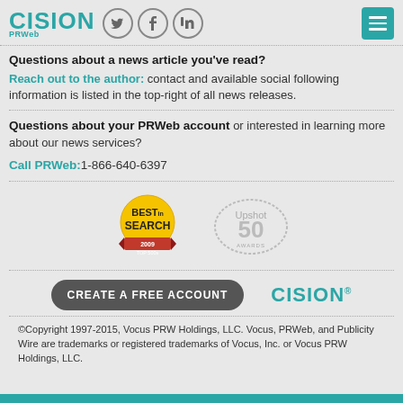[Figure (logo): Cision PRWeb logo with social media icons (Twitter, Facebook, LinkedIn) and hamburger menu button]
Questions about a news article you've read?
Reach out to the author: contact and available social following information is listed in the top-right of all news releases.
Questions about your PRWeb account or interested in learning more about our news services?
Call PRWeb: 1-866-640-6397
[Figure (logo): Best in Search badge (yellow/red) and Upshot 50 badge (grey circular seal)]
[Figure (logo): CREATE A FREE ACCOUNT button and Cision logo]
©Copyright 1997-2015, Vocus PRW Holdings, LLC. Vocus, PRWeb, and Publicity Wire are trademarks or registered trademarks of Vocus, Inc. or Vocus PRW Holdings, LLC.